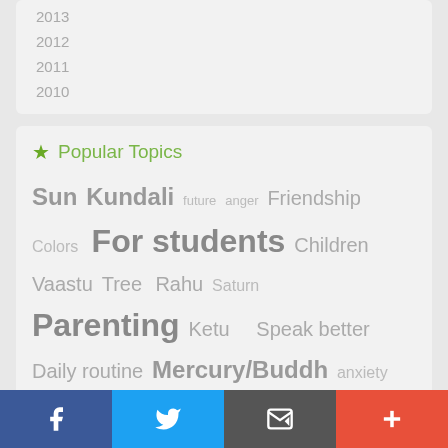2013
2012
2011
2010
Popular Topics
Sun Kundali future anger Friendship Colors For students Children Vaastu Tree Rahu Saturn Parenting Ketu Speak better Daily routine Mercury/Buddh anxiety Venus
Facebook Twitter Email Plus